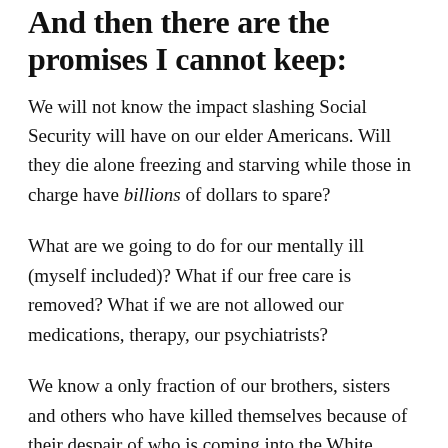And then there are the promises I cannot keep:
We will not know the impact slashing Social Security will have on our elder Americans. Will they die alone freezing and starving while those in charge have billions of dollars to spare?
What are we going to do for our mentally ill (myself included)? What if our free care is removed? What if we are not allowed our medications, therapy, our psychiatrists?
We know a only fraction of our brothers, sisters and others who have killed themselves because of their despair of who is coming into the White House. What